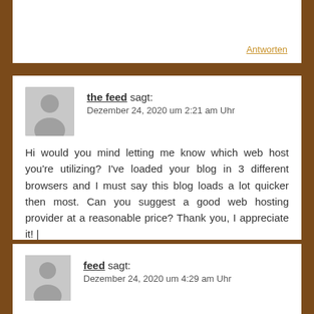Antworten
the feed sagt: Dezember 24, 2020 um 2:21 am Uhr
Hi would you mind letting me know which web host you're utilizing? I've loaded your blog in 3 different browsers and I must say this blog loads a lot quicker then most. Can you suggest a good web hosting provider at a reasonable price? Thank you, I appreciate it! |
Antworten
feed sagt: Dezember 24, 2020 um 4:29 am Uhr